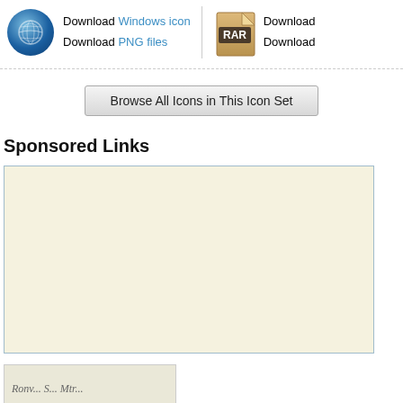[Figure (screenshot): Website screenshot showing download links for Windows icon and PNG files with a blue globe icon, and a RAR archive icon with download links on the right.]
Download Windows icon
Download PNG files
Download
Download
[Figure (other): Button labeled 'Browse All Icons in This Icon Set']
Sponsored Links
[Figure (other): Advertisement box with beige/cream background]
[Figure (photo): Small thumbnail image at the bottom left showing handwritten or cursive text, partially visible]